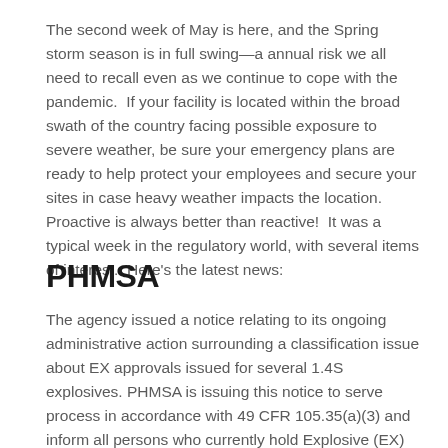The second week of May is here, and the Spring storm season is in full swing—a annual risk we all need to recall even as we continue to cope with the pandemic.  If your facility is located within the broad swath of the country facing possible exposure to severe weather, be sure your emergency plans are ready to help protect your employees and secure your sites in case heavy weather impacts the location. Proactive is always better than reactive!  It was a typical week in the regulatory world, with several items of interest.  Here's the latest news:
PHMSA
The agency issued a notice relating to its ongoing administrative action surrounding a classification issue about EX approvals issued for several 1.4S explosives. PHMSA is issuing this notice to serve process in accordance with 49 CFR 105.35(a)(3) and inform all persons who currently hold Explosive (EX) approvals for four specific Division 1.4S